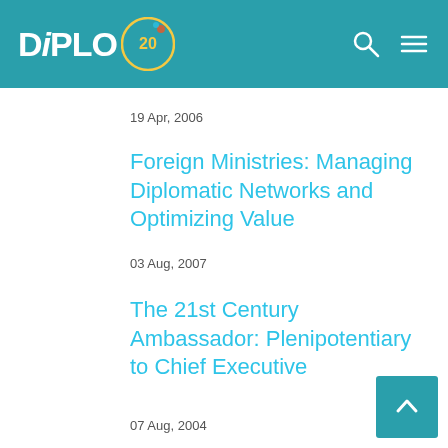DiPLO
19 Apr, 2006
Foreign Ministries: Managing Diplomatic Networks and Optimizing Value
03 Aug, 2007
The 21st Century Ambassador: Plenipotentiary to Chief Executive
07 Aug, 2004